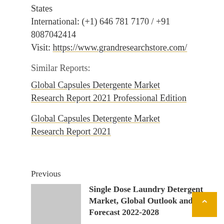States
International: (+1) 646 781 7170 / +91 8087042414
Visit: https://www.grandresearchstore.com/
Similar Reports:
Global Capsules Detergente Market Research Report 2021 Professional Edition
Global Capsules Detergente Market Research Report 2021
Previous
Single Dose Laundry Detergent Market, Global Outlook and Forecast 2022-2028